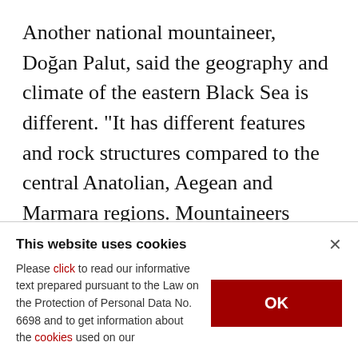Another national mountaineer, Doğan Palut, said the geography and climate of the eastern Black Sea is different. "It has different features and rock structures compared to the central Anatolian, Aegean and Marmara regions. Mountaineers enjoy seeing different places and climbing different rocks."

Stressing that the region has an unprocessed potential, Palut said: "Its people and culture are
This website uses cookies
Please click to read our informative text prepared pursuant to the Law on the Protection of Personal Data No. 6698 and to get information about the cookies used on our